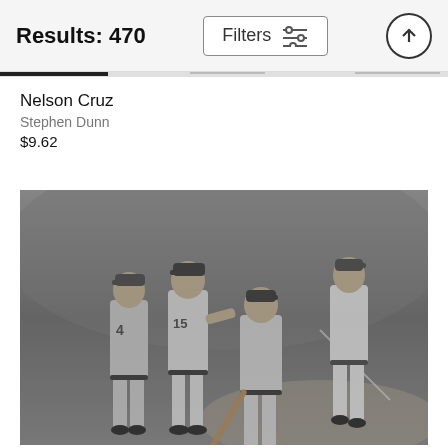Results: 470
Nelson Cruz
Stephen Dunn
$9.62
[Figure (photo): Black and white vintage baseball photograph showing four baseball players in uniforms on a field. Players wearing numbers 4 and 15 are visible. One player holds a bat and they appear to be greeting or congratulating each other near home plate.]